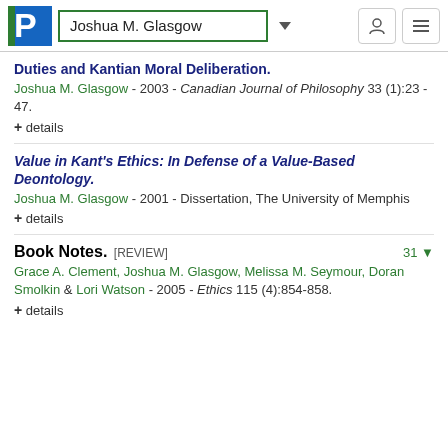Joshua M. Glasgow
Duties and Kantian Moral Deliberation.
Joshua M. Glasgow - 2003 - Canadian Journal of Philosophy 33 (1):23 - 47.
+ details
Value in Kant's Ethics: In Defense of a Value-Based Deontology.
Joshua M. Glasgow - 2001 - Dissertation, The University of Memphis
+ details
Book Notes. [REVIEW]
Grace A. Clement, Joshua M. Glasgow, Melissa M. Seymour, Doran Smolkin & Lori Watson - 2005 - Ethics 115 (4):854-858.
+ details